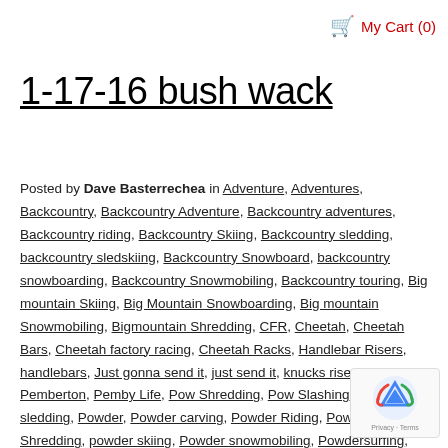My Cart (0)
1-17-16 bush wack
Posted by Dave Basterrechea in Adventure, Adventures, Backcountry, Backcountry Adventure, Backcountry adventures, Backcountry riding, Backcountry Skiing, Backcountry sledding, backcountry sledskiing, Backcountry Snowboard, backcountry snowboarding, Backcountry Snowmobiling, Backcountry touring, Big mountain Skiing, Big Mountain Snowboarding, Big mountain Snowmobiling, Bigmountain Shredding, CFR, Cheetah, Cheetah Bars, Cheetah factory racing, Cheetah Racks, Handlebar Risers, handlebars, Just gonna send it, just send it, knucks risers, Pemberton, Pemby Life, Pow Shredding, Pow Slashing, Pow sledding, Powder, Powder carving, Powder Riding, Powder Shredding, powder skiing, Powder snowmobiling, Powdersurfing, Powsurf, Powsurf Rack, Powsurf Rack for Snowmobile, Powsurfing, Rack for Snowbike, rack for snowmobile,